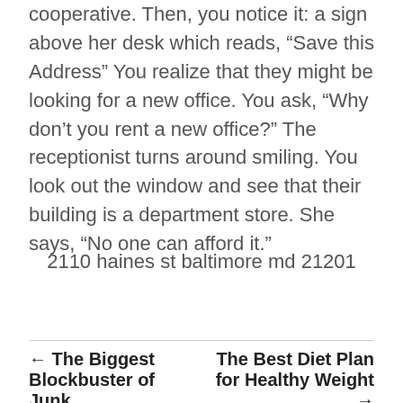cooperative. Then, you notice it: a sign above her desk which reads, “Save this Address” You realize that they might be looking for a new office. You ask, “Why don’t you rent a new office?” The receptionist turns around smiling. You look out the window and see that their building is a department store. She says, “No one can afford it.”
2110 haines st baltimore md 21201
← The Biggest Blockbuster of Junk | The Best Diet Plan for Healthy Weight →